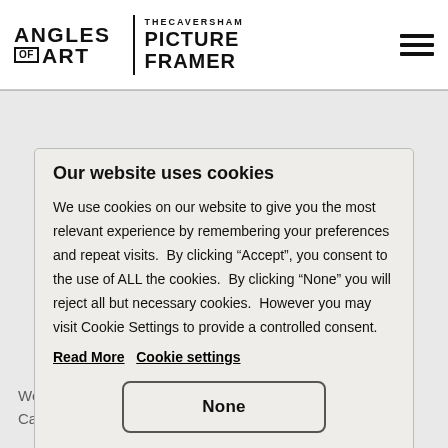[Figure (logo): Angles of Art | The Caversham Picture Framer logo with hamburger menu icon]
Our website uses cookies
We use cookies on our website to give you the most relevant experience by remembering your preferences and repeat visits.  By clicking “Accept”, you consent to the use of ALL the cookies.  By clicking "None" you will reject all but necessary cookies.  However you may visit Cookie Settings to provide a controlled consent.
Read More   Cookie settings
None
We are honoured to host Donna Lloyds show at The Caversham Picture Framer. We will exhibit her abstract